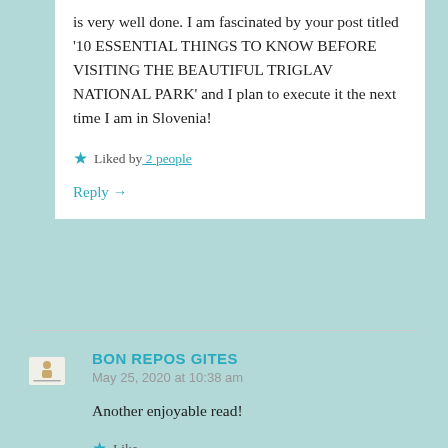is very well done. I am fascinated by your post titled '10 ESSENTIAL THINGS TO KNOW BEFORE VISITING THE BEAUTIFUL TRIGLAV NATIONAL PARK' and I plan to execute it the next time I am in Slovenia!
Liked by 2 people
Reply →
BON REPOS GITES
May 25, 2020 at 10:38 am
Another enjoyable read!
Like